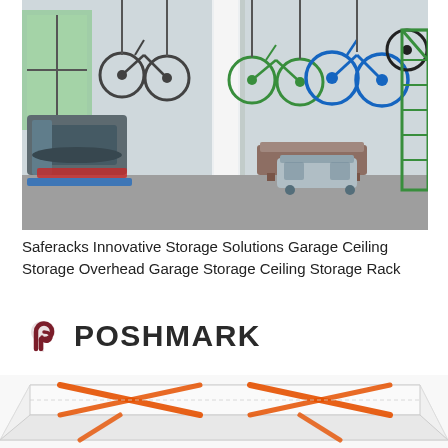[Figure (photo): Interior of an organized garage with multiple bicycles mounted on the wall via hooks, a treadmill on the left, a wooden bench and large plastic storage bin in the center, and a green ladder on the right. Floor has gray epoxy coating.]
Saferacks Innovative Storage Solutions Garage Ceiling Storage Overhead Garage Storage Ceiling Storage Rack
[Figure (logo): Poshmark logo: a dark red interlocked P-shaped icon followed by the word POSHMARK in bold dark gray letters.]
[Figure (photo): A mattress or box spring wrapped in white plastic with orange straps/bands criss-crossing it, photographed from above at an angle.]